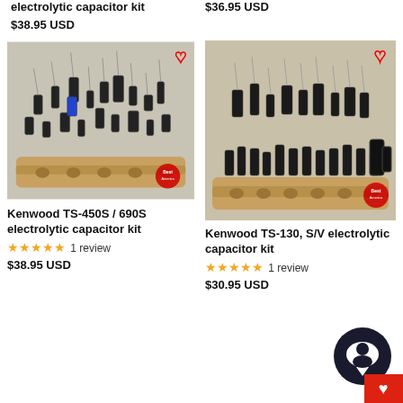electrolytic capacitor kit
$38.95 USD
$36.95 USD
[Figure (photo): Photo of Kenwood TS-450S / 690S electrolytic capacitor kit — many black cylindrical capacitors spread on a wooden holder, with a red heart outline icon overlay]
Kenwood TS-450S / 690S electrolytic capacitor kit
★★★★★ 1 review
$38.95 USD
[Figure (photo): Photo of Kenwood TS-130, S/V electrolytic capacitor kit — black cylindrical capacitors arranged on a wooden strip holder, with a red heart outline icon overlay]
Kenwood TS-130, S/V electrolytic capacitor kit
★★★★★ 1 review
$30.95 USD
[Figure (other): Chat/support bubble icon (dark circle with white chat bubble) and a red square wishlist button with white heart icon in bottom-right corner]